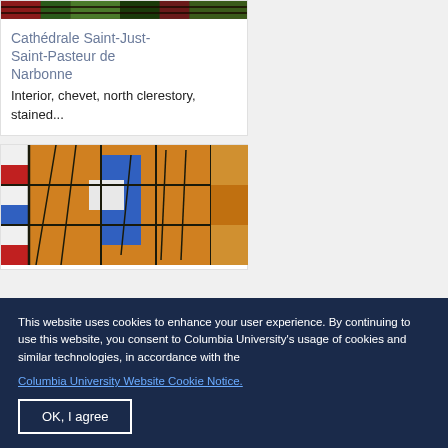[Figure (photo): Top portion of a stained glass window with red and green foliage details]
Cathédrale Saint-Just-Saint-Pasteur de Narbonne
Interior, chevet, north clerestory, stained...
[Figure (photo): Stained glass window detail showing a figure in orange and blue robes]
This website uses cookies to enhance your user experience. By continuing to use this website, you consent to Columbia University's usage of cookies and similar technologies, in accordance with the Columbia University Website Cookie Notice.
OK, I agree